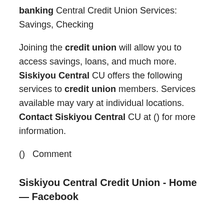() Siskiyou central credit union online banking Central Credit Union Services: Savings, Checking
Joining the credit union will allow you to access savings, loans, and much more. Siskiyou Central CU offers the following services to credit union members. Services available may vary at individual locations. Contact Siskiyou Central CU at () for more information.
()   Comment
Siskiyou Central Credit Union - Home — Facebook